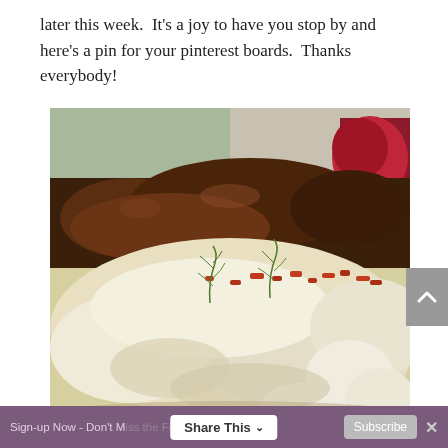later this week.  It's a joy to have you stop by and here's a pin for your pinterest boards.  Thanks everybody!
[Figure (photo): Close-up photograph of a creamy pasta or cauliflower dish topped with crumbled bacon bits and fresh dill, with a dark braised meat dish visible in the background, and a red garnish in the upper right corner.]
Sign-up Now - Don't Miss the Fun!  Share This  Subscribe  ×